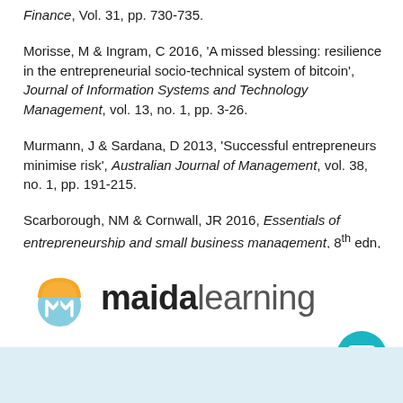Finance, Vol. 31, pp. 730-735.
Morisse, M & Ingram, C 2016, 'A missed blessing: resilience in the entrepreneurial socio-technical system of bitcoin', Journal of Information Systems and Technology Management, vol. 13, no. 1, pp. 3-26.
Murmann, J & Sardana, D 2013, 'Successful entrepreneurs minimise risk', Australian Journal of Management, vol. 38, no. 1, pp. 191-215.
Scarborough, NM & Cornwall, JR 2016, Essentials of entrepreneurship and small business management, 8th edn, Pearson Education Limited, Harlow.
[Figure (logo): Maida Learning logo with umbrella icon and text 'maidalearning' in two weights]